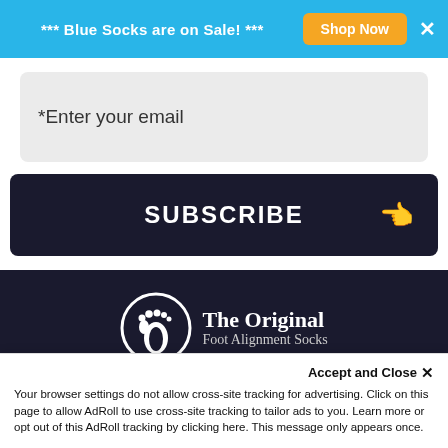*** Blue Socks are on Sale! ***   [Shop Now]   ×
*Enter your email
SUBSCRIBE 👈
[Figure (logo): The Original Foot Alignment Socks logo — circular foot icon on left, text 'The Original Foot Alignment Socks' on right in white on dark background]
Quick Links
Accept and Close ×
Your browser settings do not allow cross-site tracking for advertising. Click on this page to allow AdRoll to use cross-site tracking to tailor ads to you. Learn more or opt out of this AdRoll tracking by clicking here. This message only appears once.